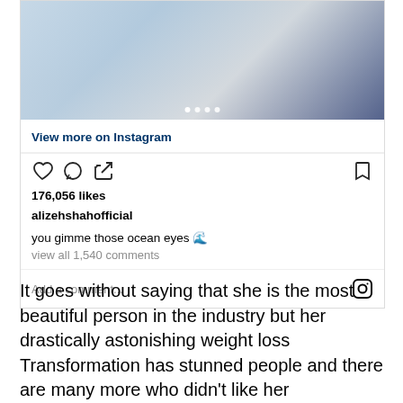[Figure (screenshot): Instagram post screenshot showing a photo of a person in blue clothing near water, with navigation dots, like/comment/share icons, 176,056 likes, username alizehshahofficial, caption 'you gimme those ocean eyes', view all 1,540 comments, and add a comment field]
It goes without saying that she is the most beautiful person in the industry but her drastically astonishing weight loss Transformation has stunned people and there are many more who didn't like her